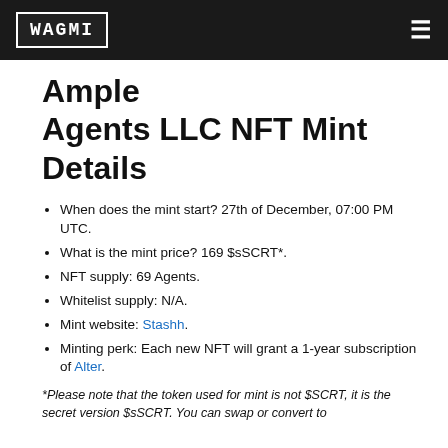WAGMI
Ample Agents LLC NFT Mint Details
When does the mint start? 27th of December, 07:00 PM UTC.
What is the mint price? 169 $sSCRT*.
NFT supply: 69 Agents.
Whitelist supply: N/A.
Mint website: Stashh.
Minting perk: Each new NFT will grant a 1-year subscription of Alter.
*Please note that the token used for mint is not $SCRT, it is the secret version $sCRT. You can swap or convert to